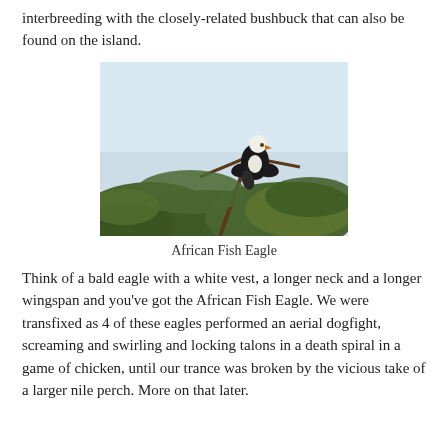interbreeding with the closely-related bushbuck that can also be found on the island.
[Figure (photo): An African Fish Eagle perched on tree branches with a light blue sky background.]
African Fish Eagle
Think of a bald eagle with a white vest, a longer neck and a longer wingspan and you've got the African Fish Eagle. We were transfixed as 4 of these eagles performed an aerial dogfight, screaming and swirling and locking talons in a death spiral in a game of chicken, until our trance was broken by the vicious take of a larger nile perch. More on that later.